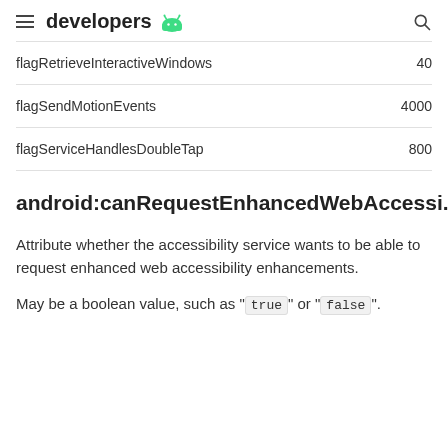developers
| flagRetrieveInteractiveWindows | 40 |
| flagSendMotionEvents | 4000 |
| flagServiceHandlesDoubleTap | 800 |
android:canRequestEnhancedWebAccessi...
Attribute whether the accessibility service wants to be able to request enhanced web accessibility enhancements.
May be a boolean value, such as " true " or " false ".